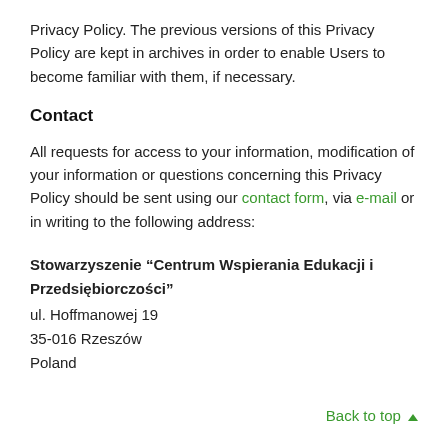Privacy Policy. The previous versions of this Privacy Policy are kept in archives in order to enable Users to become familiar with them, if necessary.
Contact
All requests for access to your information, modification of your information or questions concerning this Privacy Policy should be sent using our contact form, via e-mail or in writing to the following address:
Stowarzyszenie “Centrum Wspierania Edukacji i Przedsiębiorczości”
ul. Hoffmanowej 19
35-016 Rzeszów
Poland
Back to top ▲